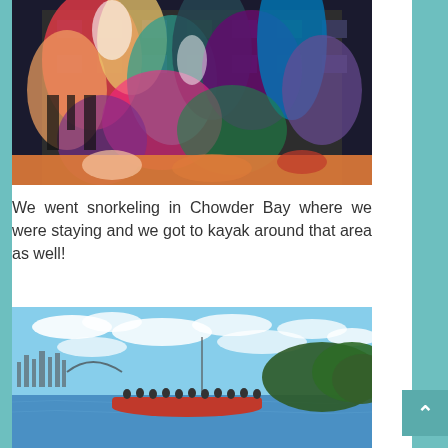[Figure (photo): Colorful abstract light projection art display on a building facade with vibrant splashes of color including red, yellow, blue, green, and purple painted or projected over windows and exterior surfaces]
We went snorkeling in Chowder Bay where we were staying and we got to kayak around that area as well!
[Figure (photo): Group of people kayaking in a bay with city skyline in the background, blue sky with scattered clouds, green tree-covered hills on the right, people in a long red kayak or dragon boat on calm blue water]